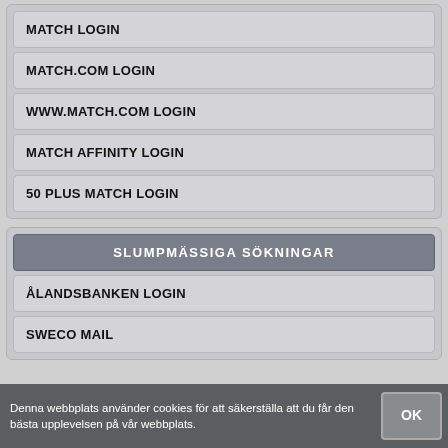MATCH LOGIN
MATCH.COM LOGIN
WWW.MATCH.COM LOGIN
MATCH AFFINITY LOGIN
50 PLUS MATCH LOGIN
SLUMPMÄSSIGA SÖKNINGAR
ÅLANDSBANKEN LOGIN
SWECO MAIL
Denna webbplats använder cookies för att säkerställa att du får den bästa upplevelsen på vår webbplats.